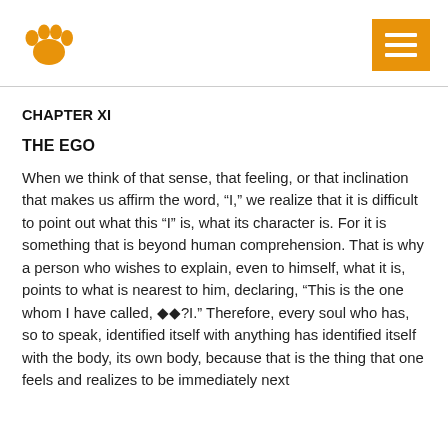CHAPTER XI
THE EGO
When we think of that sense, that feeling, or that inclination that makes us affirm the word, “I,” we realize that it is difficult to point out what this “I” is, what its character is. For it is something that is beyond human comprehension. That is why a person who wishes to explain, even to himself, what it is, points to what is nearest to him, declaring, “This is the one whom I have called, ��?I.” Therefore, every soul who has, so to speak, identified itself with anything has identified itself with the body, its own body, because that is the thing that one feels and realizes to be immediately next